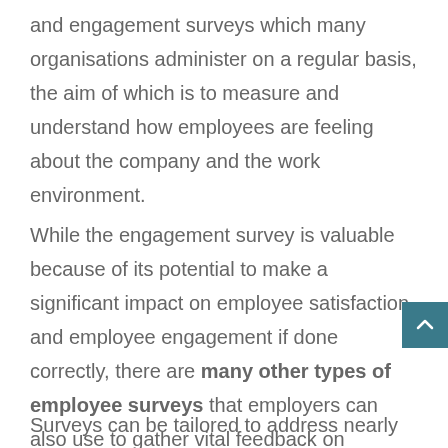and engagement surveys which many organisations administer on a regular basis, the aim of which is to measure and understand how employees are feeling about the company and the work environment.
While the engagement survey is valuable because of its potential to make a significant impact on employee satisfaction and employee engagement if done correctly, there are many other types of employee surveys that employers can also use to gather vital feedback on important employment related topics.
Surveys can be tailored to address nearly any issue the organisation